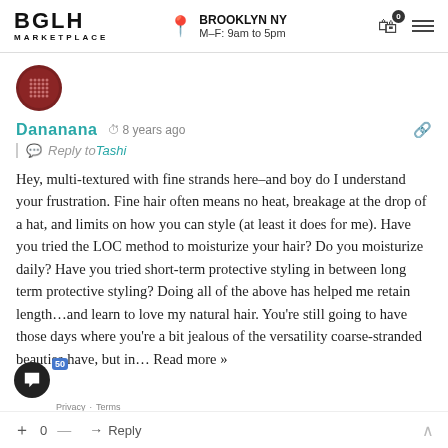BGLH MARKETPLACE  BROOKLYN NY  M–F: 9am to 5pm
[Figure (logo): Circular avatar with dot-grid pattern in dark red/maroon]
Dananana  8 years ago  | Reply to Tashi
Hey, multi-textured with fine strands here–and boy do I understand your frustration. Fine hair often means no heat, breakage at the drop of a hat, and limits on how you can style (at least it does for me). Have you tried the LOC method to moisturize your hair? Do you moisturize daily? Have you tried short-term protective styling in between long term protective styling? Doing all of the above has helped me retain length…and learn to love my natural hair. You're still going to have those days where you're a bit jealous of the versatility coarse-stranded beauties have, but in… Read more »
0  Reply